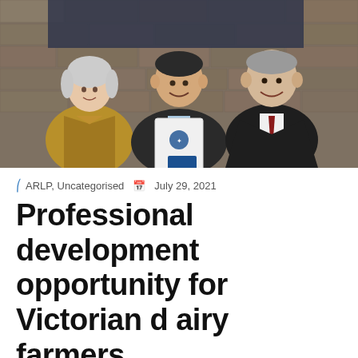[Figure (photo): Three people standing together smiling at a formal event. A woman on the left wearing a gold/bronze jacket, a man in the center in a dark suit holding a white folder/booklet with a logo, and an older man on the right in a dark suit with a red tie. Stone wall and screen visible in background.]
ARLP, Uncategorised   July 29, 2021
Professional development opportunity for Victorian dairy farmers
Victorian dairy farmers aiming for professional development can